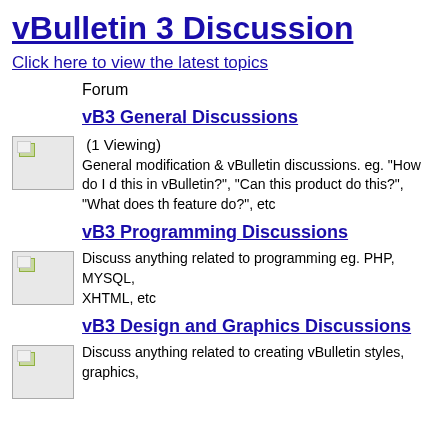vBulletin 3 Discussion
Click here to view the latest topics
Forum
vB3 General Discussions
(1 Viewing)
General modification & vBulletin discussions. eg. "How do I do this in vBulletin?", "Can this product do this?", "What does this feature do?", etc
vB3 Programming Discussions
Discuss anything related to programming eg. PHP, MYSQL, XHTML, etc
vB3 Design and Graphics Discussions
Discuss anything related to creating vBulletin styles, graphics,